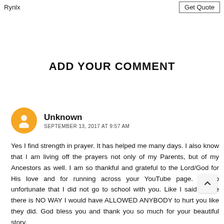Rynlx   Get Quote
ADD YOUR COMMENT
Unknown
SEPTEMBER 13, 2017 AT 9:57 AM
Yes I find strength in prayer. It has helped me many days. I also know that I am living off the prayers not only of my Parents, but of my Ancestors as well. I am so thankful and grateful to the Lord/God for His love and for running across your YouTube page. It's so unfortunate that I did not go to school with you. Like I said before there is NO WAY I would have ALLOWED ANYBODY to hurt you like they did. God bless you and thank you so much for your beautiful story.